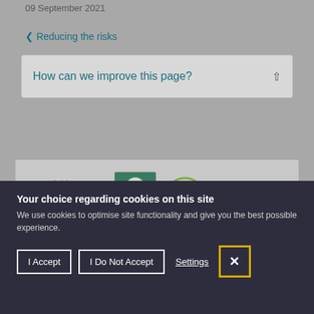09 September 2021
‹ Reducing the risks
How can we improve this page?
[Figure (screenshot): Add this page section with person icon and green checkmark circle icon]
Your choice regarding cookies on this site
We use cookies to optimise site functionality and give you the best possible experience.
I Accept
I Do Not Accept
Settings